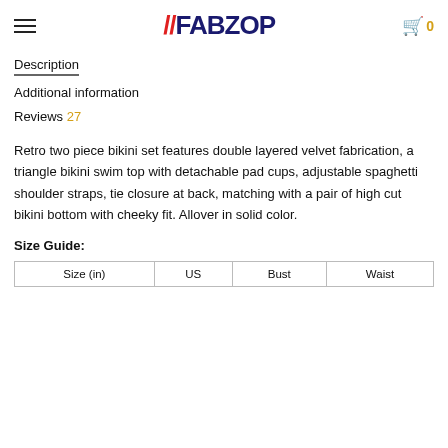//FABZOP
Description
Additional information
Reviews 27
Retro two piece bikini set features double layered velvet fabrication, a triangle bikini swim top with detachable pad cups, adjustable spaghetti shoulder straps, tie closure at back, matching with a pair of high cut bikini bottom with cheeky fit. Allover in solid color.
Size Guide:
| Size (in) | US | Bust | Waist |
| --- | --- | --- | --- |